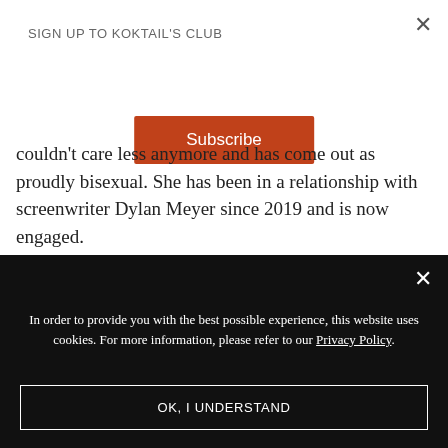SIGN UP TO KOKTAIL'S CLUB
Subscribe
couldn't care less anymore and has come out as proudly bisexual. She has been in a relationship with screenwriter Dylan Meyer since 2019 and is now engaged.
In order to provide you with the best possible experience, this website uses cookies. For more information, please refer to our Privacy Policy.
OK, I UNDERSTAND